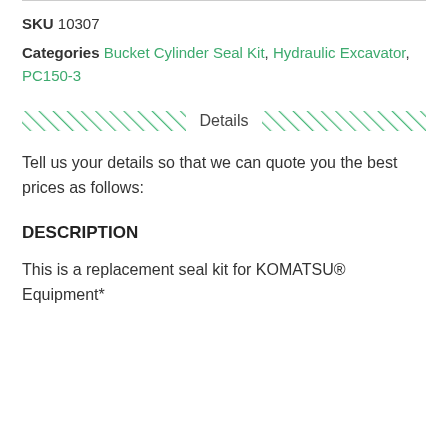SKU 10307
Categories Bucket Cylinder Seal Kit, Hydraulic Excavator, PC150-3
Details
Tell us your details so that we can quote you the best prices as follows:
DESCRIPTION
This is a replacement seal kit for KOMATSU® Equipment*